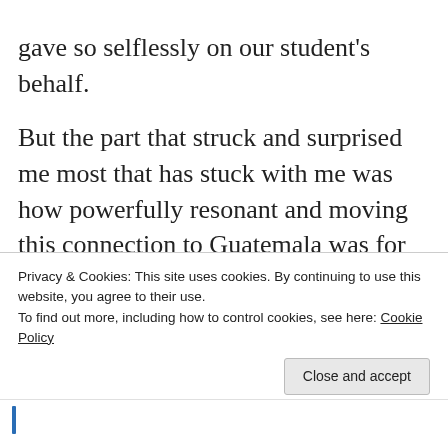gave so selflessly on our student's behalf.
But the part that struck and surprised me most that has stuck with me was how powerfully resonant and moving this connection to Guatemala was for them. Though they had no prior connection to MAIA or to Guatemala, while I was busy sweating through my shirt feeling awkward and queasy about my bold ask,
Privacy & Cookies: This site uses cookies. By continuing to use this website, you agree to their use.
To find out more, including how to control cookies, see here: Cookie Policy
Close and accept